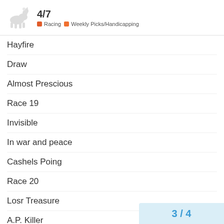4/7 Racing Weekly Picks/Handicapping
Hayfire
Draw
Almost Prescious
Race 19
Invisible
In war and peace
Cashels Poing
Race 20
Losr Treasure
A.P. Killer
Could be funny
3 / 4